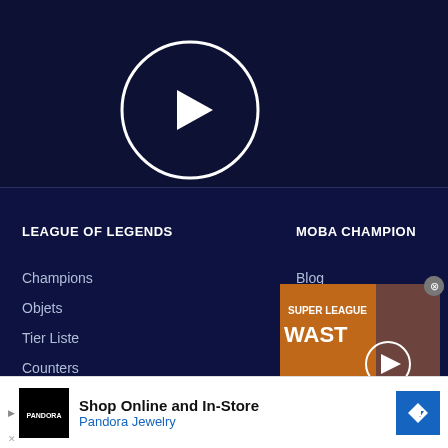[Figure (screenshot): Dark navy blue video player area with a circular white play button icon centered in the upper portion]
LEAGUE OF LEGENDS
Champions
Objets
Tier Liste
Counters
Synergies
MOBA CHAMPION
Blog
[Figure (screenshot): Floating video advertisement showing Super League Wasted game footage with orange background and a player in green]
Publicité
SUPER LEAGUE
[Figure (other): Pandora Jewelry advertisement banner: Shop Online and In-Store, Pandora Jewelry, with black logo box and blue diamond arrow icon]